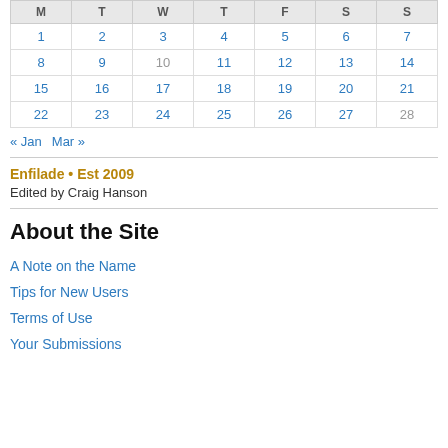| M | T | W | T | F | S | S |
| --- | --- | --- | --- | --- | --- | --- |
| 1 | 2 | 3 | 4 | 5 | 6 | 7 |
| 8 | 9 | 10 | 11 | 12 | 13 | 14 |
| 15 | 16 | 17 | 18 | 19 | 20 | 21 |
| 22 | 23 | 24 | 25 | 26 | 27 | 28 |
« Jan   Mar »
Enfilade • Est 2009
Edited by Craig Hanson
About the Site
A Note on the Name
Tips for New Users
Terms of Use
Your Submissions